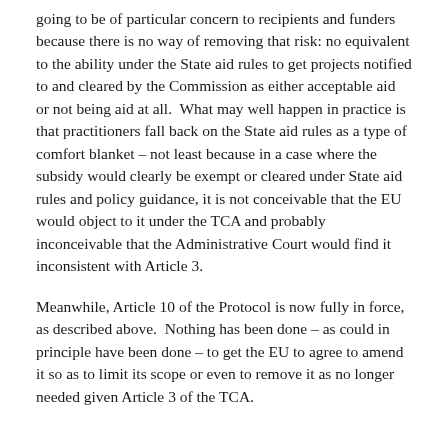going to be of particular concern to recipients and funders because there is no way of removing that risk: no equivalent to the ability under the State aid rules to get projects notified to and cleared by the Commission as either acceptable aid or not being aid at all.  What may well happen in practice is that practitioners fall back on the State aid rules as a type of comfort blanket – not least because in a case where the subsidy would clearly be exempt or cleared under State aid rules and policy guidance, it is not conceivable that the EU would object to it under the TCA and probably inconceivable that the Administrative Court would find it inconsistent with Article 3.
Meanwhile, Article 10 of the Protocol is now fully in force, as described above.  Nothing has been done – as could in principle have been done – to get the EU to agree to amend it so as to limit its scope or even to remove it as no longer needed given Article 3 of the TCA.